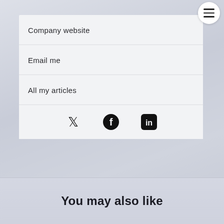Company website
Email me
All my articles
[Figure (infographic): Social media icons: Twitter bird, Facebook f, LinkedIn in]
You may also like